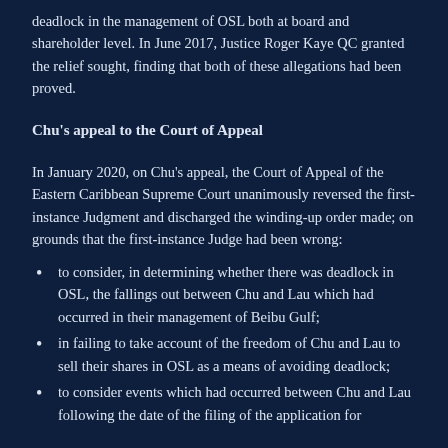deadlock in the management of OSL both at board and shareholder level. In June 2017, Justice Roger Kaye QC granted the relief sought, finding that both of these allegations had been proved.
Chu's appeal to the Court of Appeal
In January 2020, on Chu's appeal, the Court of Appeal of the Eastern Caribbean Supreme Court unanimously reversed the first-instance Judgment and discharged the winding-up order made; on grounds that the first-instance Judge had been wrong:
to consider, in determining whether there was deadlock in OSL, the fallings out between Chu and Lau which had occurred in their management of Beibu Gulf;
in failing to take account of the freedom of Chu and Lau to sell their shares in OSL as a means of avoiding deadlock;
to consider events which had occurred between Chu and Lau following the date of the filing of the application for